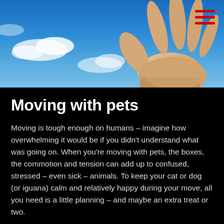[Figure (photo): A hand reaching upward against a blue sky with white clouds, photographed from below. Red hamburger menu icon in top right corner.]
Moving with pets
Moving is tough enough on humans – imagine how overwhelming it would be if you didn't understand what was going on. When you're moving with pets, the boxes, the commotion and tension can add up to confused, stressed – even sick – animals. To keep your cat or dog (or iguana) calm and relatively happy during your move, all you need is a little planning – and maybe an extra treat or two.
Stick to a routine
Str...